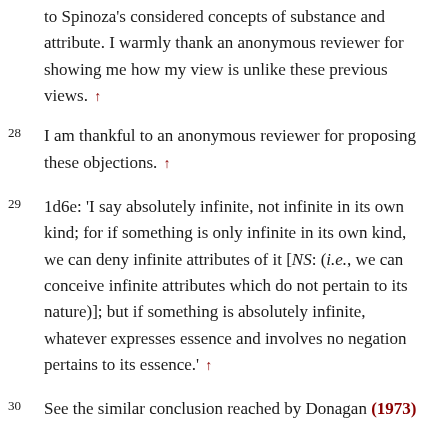to Spinoza's considered concepts of substance and attribute. I warmly thank an anonymous reviewer for showing me how my view is unlike these previous views. ↑
28 I am thankful to an anonymous reviewer for proposing these objections. ↑
29 1d6e: 'I say absolutely infinite, not infinite in its own kind; for if something is only infinite in its own kind, we can deny infinite attributes of it [NS: (i.e., we can conceive infinite attributes which do not pertain to its nature)]; but if something is absolutely infinite, whatever expresses essence and involves no negation pertains to its essence.' ↑
30 See the similar conclusion reached by Donagan (1973)